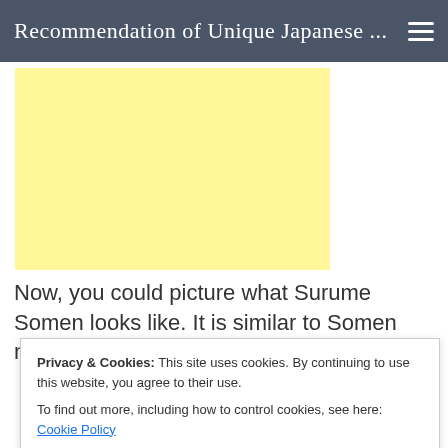Recommendation of Unique Japanese ...
[Figure (other): Yellow advertisement block placeholder]
Now, you could picture what Surume Somen looks like. It is similar to Somen noodles and is
Privacy & Cookies: This site uses cookies. By continuing to use this website, you agree to their use.
To find out more, including how to control cookies, see here: Cookie Policy
Close and accept